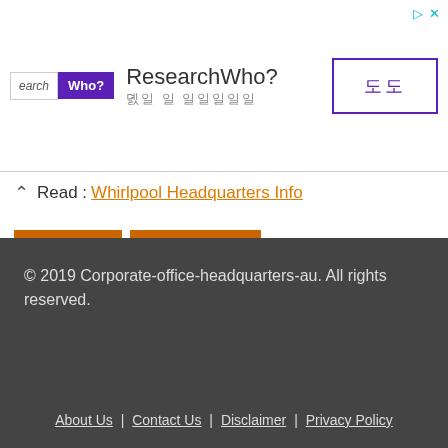[Figure (screenshot): Advertisement banner for ResearchWho? service with logo, title text, Korean subtitle, and a button with Korean characters]
Also Read : Whirlpool Headquarters Info
HEAD OFFICE
HEAD QUARTERS
« Citibank   Virgin Mobile »
© 2019 Corporate-office-headquarters-au. All rights reserved.
About Us | Contact Us | Disclaimer | Privacy Policy